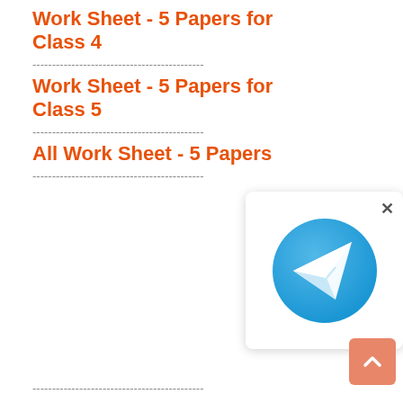Work Sheet - 5 Papers for Class 4
--------------------------------------------
Work Sheet - 5 Papers for Class 5
--------------------------------------------
All Work Sheet - 5 Papers
--------------------------------------------
[Figure (logo): Telegram app icon: blue circle with white paper plane send icon]
[Figure (other): Scroll to top button: salmon/orange rounded square with upward chevron arrow]
--------------------------------------------